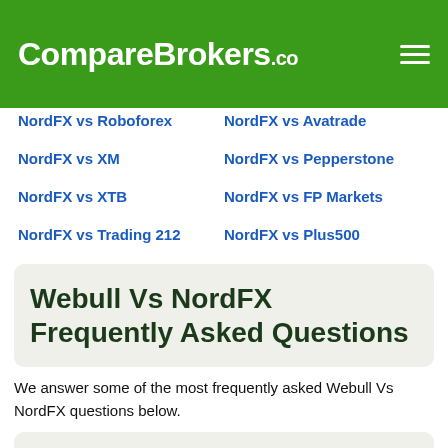CompareBrokers.co
NordFX vs Roboforex
NordFX vs Avatrade
NordFX vs XM
NordFX vs Pepperstone
NordFX vs XTB
NordFX vs FP Markets
NordFX vs Trading 212
NordFX vs Plus500
Webull Vs NordFX Frequently Asked Questions
We answer some of the most frequently asked Webull Vs NordFX questions below.
Is Webull any Good?